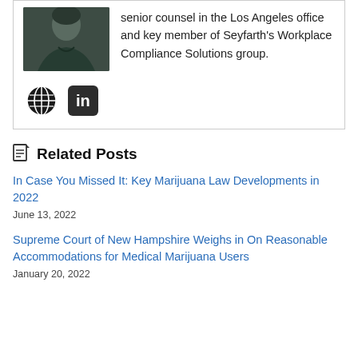[Figure (photo): Photo of a woman in dark clothing, cropped at shoulder level, with dark background]
senior counsel in the Los Angeles office and key member of Seyfarth's Workplace Compliance Solutions group.
[Figure (other): Globe icon and LinkedIn icon]
Related Posts
In Case You Missed It: Key Marijuana Law Developments in 2022
June 13, 2022
Supreme Court of New Hampshire Weighs in On Reasonable Accommodations for Medical Marijuana Users
January 20, 2022